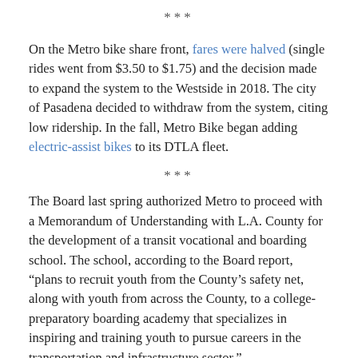***
On the Metro bike share front, fares were halved (single rides went from $3.50 to $1.75) and the decision made to expand the system to the Westside in 2018. The city of Pasadena decided to withdraw from the system, citing low ridership. In the fall, Metro Bike began adding electric-assist bikes to its DTLA fleet.
***
The Board last spring authorized Metro to proceed with a Memorandum of Understanding with L.A. County for the development of a transit vocational and boarding school. The school, according to the Board report, “plans to recruit youth from the County’s safety net, along with youth from across the County, to a college-preparatory boarding academy that specializes in inspiring and training youth to pursue careers in the transportation and infrastructure sector.”